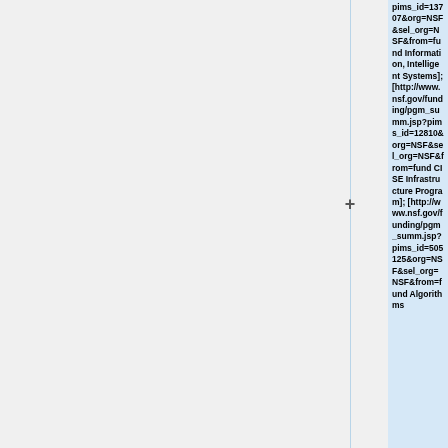|  |  | pims_id=13707&org=NSF&sel_org=NSF&from=fund Information, Intelligent Systems]; [http://www.nsf.gov/funding/pgm_summ.jsp?pims_id=12810&org=NSF&sel_org=NSF&from=fund CISE Infrastructure Program]; [http://www.nsf.gov/funding/pgm_summ.jsp?pims_id=505125&org=NSF&sel_org=NSF&from=fund Algorithms |